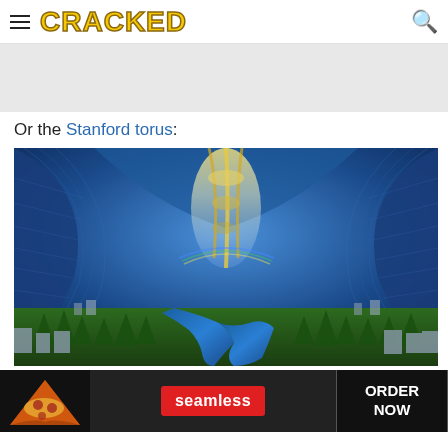CRACKED
[Figure (other): Gray advertisement placeholder banner at top of page]
Or the Stanford torus:
[Figure (illustration): Interior view of a Stanford torus space habitat showing a curved cylindrical landscape with a river, forests, cities, and blue structural panels curving overhead, with a bright central axis]
[Figure (other): Seamless food ordering advertisement banner at the bottom showing pizza image, Seamless logo in red, and ORDER NOW button]